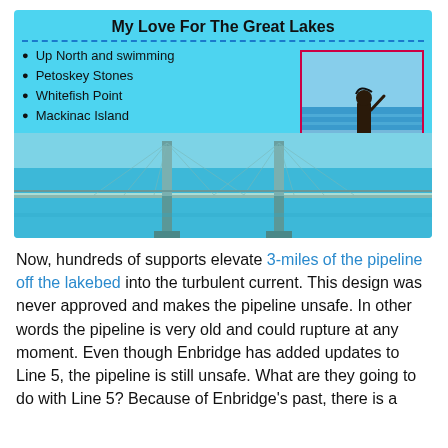My Love For The Great Lakes
Up North and swimming
Petoskey Stones
Whitefish Point
Mackinac Island
[Figure (photo): Photo of a girl standing at the shoreline of a Great Lake, waves behind her, framed with a red/pink border]
[Figure (photo): Background image of the Mackinac Bridge over blue water with light blue sky]
Now, hundreds of supports elevate 3-miles of the pipeline off the lakebed into the turbulent current. This design was never approved and makes the pipeline unsafe. In other words the pipeline is very old and could rupture at any moment. Even though Enbridge has added updates to Line 5, the pipeline is still unsafe. What are they going to do with Line 5? Because of Enbridge's past, there is a